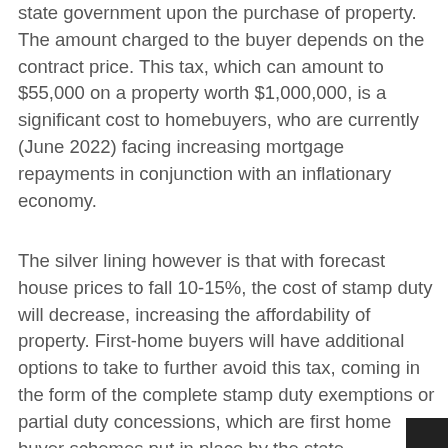state government upon the purchase of property. The amount charged to the buyer depends on the contract price. This tax, which can amount to $55,000 on a property worth $1,000,000, is a significant cost to homebuyers, who are currently (June 2022) facing increasing mortgage repayments in conjunction with an inflationary economy.
The silver lining however is that with forecast house prices to fall 10-15%, the cost of stamp duty will decrease, increasing the affordability of property. First-home buyers will have additional options to take to further avoid this tax, coming in the form of the complete stamp duty exemptions or partial duty concessions, which are first home buyer schemes put in place by the state government.